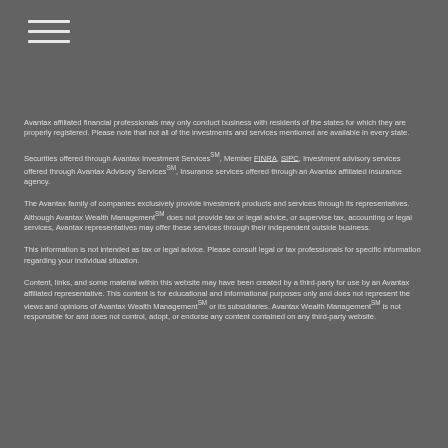☰
Avantax affiliated financial professionals may only conduct business with residents of the states for which they are properly registered. Please note that not all of the investments and services mentioned are available in every state.
Securities offered through Avantax Investment ServicesSM, Member FINRA, SIPC, Investment advisory services offered through Avantax Advisory ServicesSM, Insurance services offered through an Avantax affiliated insurance agency.
The Avantax family of companies exclusively provide investment products and services through its representatives. Although Avantax Wealth ManagementSM does not provide tax or legal advice, or supervise tax, accounting or legal services, Avantax representatives may offer these services through their independent outside business.
This information is not intended as tax or legal advice. Please consult legal or tax professionals for specific information regarding your individual situation.
Content, links, and some material within this website may have been created by a third-party for use by an Avantax affiliated representative. This content is for educational and informational purposes only and does not represent the views and opinions of Avantax Wealth ManagementSM or its subsidiaries. Avantax Wealth ManagementSM is not responsible for and does not control, adopt, or endorse any content contained on any third-party website.